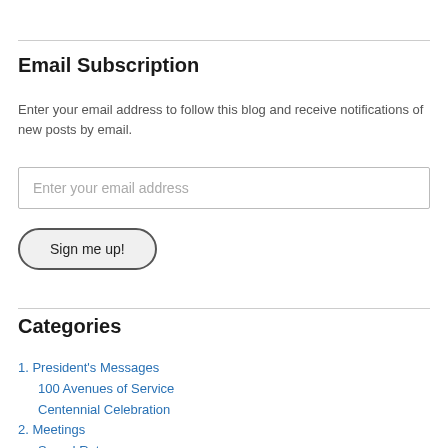Email Subscription
Enter your email address to follow this blog and receive notifications of new posts by email.
Enter your email address
Sign me up!
Categories
1. President's Messages
100 Avenues of Service
Centennial Celebration
2. Meetings
Speed Rotary